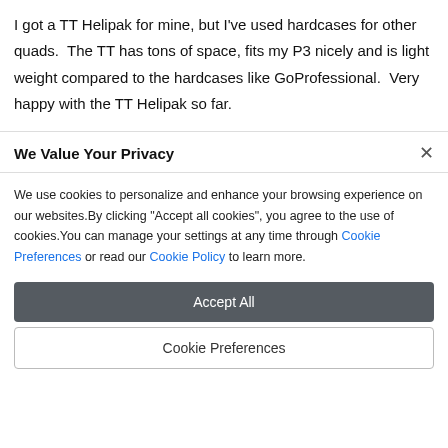I got a TT Helipak for mine, but I've used hardcases for other quads.  The TT has tons of space, fits my P3 nicely and is light weight compared to the hardcases like GoProfessional.  Very happy with the TT Helipak so far.
We Value Your Privacy
We use cookies to personalize and enhance your browsing experience on our websites.By clicking "Accept all cookies", you agree to the use of cookies.You can manage your settings at any time through Cookie Preferences or read our Cookie Policy to learn more.
Accept All
Cookie Preferences